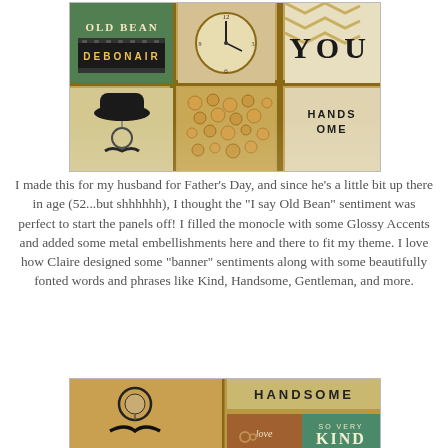[Figure (photo): Craft wooden shadow box/printer tray with compartments filled with decorative elements including 'OLD BEAN' text, a clock face, 'YOU' text, 'DEBONAIR' film strip, a bowler hat and monocle with mustache, wooden circles, and 'HANDSOME' text.]
I made this for my husband for Father's Day, and since he's a little bit up there in age (52...but shhhhhh), I thought the "I say Old Bean" sentiment was perfect to start the panels off! I filled the monocle with some Glossy Accents and added some metal embellishments here and there to fit my theme. I love how Claire designed some "banner" sentiments along with some beautifully fonted words and phrases like Kind, Handsome, Gentleman, and more.
[Figure (photo): Close-up of craft shadow box compartments showing monocle and mustache stamp, 'HANDSOME' text at top, 'love' bottle, gears, and 'SO VERY KIND' green banner tile.]